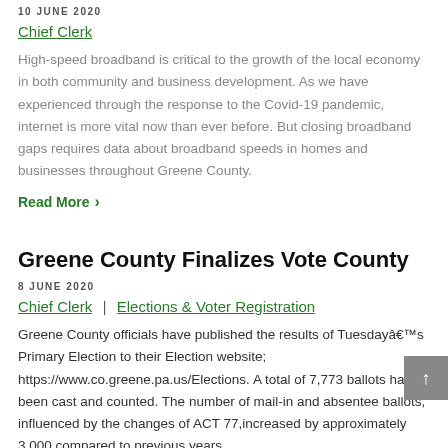10 JUNE 2020
Chief Clerk
High-speed broadband is critical to the growth of the local economy in both community and business development. As we have experienced through the response to the Covid-19 pandemic, internet is more vital now than ever before. But closing broadband gaps requires data about broadband speeds in homes and businesses throughout Greene County.
Read More >
Greene County Finalizes Vote County
8 JUNE 2020
Chief Clerk | Elections & Voter Registration
Greene County officials have published the results of Tuesdayâ€™s Primary Election to their Election website; https://www.co.greene.pa.us/Elections. A total of 7,773 ballots have been cast and counted. The number of mail-in and absentee ballots, influenced by the changes of ACT 77,increased by approximately 3,000 compared to previous years.
Read More >